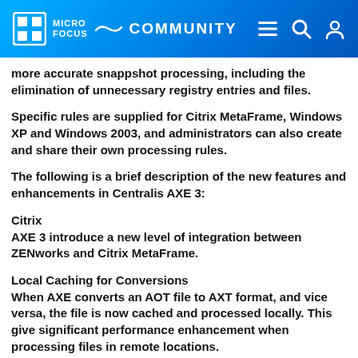MICRO FOCUS — COMMUNITY
more accurate snappshot processing, including the elimination of unnecessary registry entries and files.
Specific rules are supplied for Citrix MetaFrame, Windows XP and Windows 2003, and administrators can also create and share their own processing rules.
The following is a brief description of the new features and enhancements in Centralis AXE 3:
Citrix
AXE 3 introduce a new level of integration between ZENworks and Citrix MetaFrame.
Local Caching for Conversions
When AXE converts an AOT file to AXT format, and vice versa, the file is now cached and processed locally. This give significant performance enhancement when processing files in remote locations.